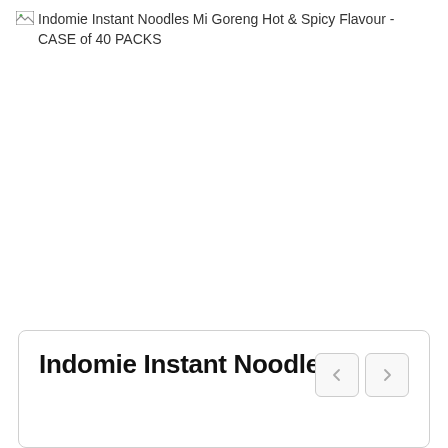[Figure (other): Broken image placeholder showing alt text: Indomie Instant Noodles Mi Goreng Hot & Spicy Flavour - CASE of 40 PACKS]
Indomie Instant Noodles